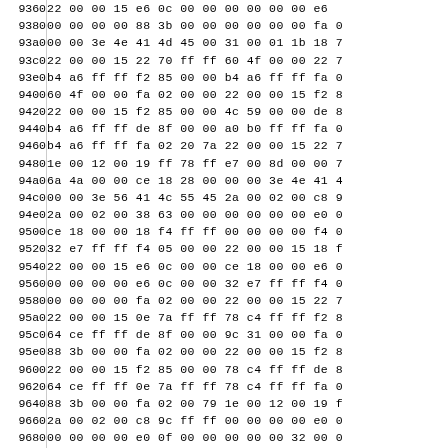| addr | hex data |
| --- | --- |
| 9360 | 22 00 00 15 e6 0c 00 00 00 00 00 00 e6 |
| 9380 | 00 00 00 00 88 3b 00 00 00 00 00 00 fa 0 |
| 93a0 | 00 00 3e 4e 41 4d 45 00 31 00 01 1b 18 7 |
| 93c0 | 22 00 00 15 22 70 ff ff 60 4f 00 00 22 7 |
| 93e0 | b4 a6 ff ff f2 85 00 00 b4 a6 ff ff fa 0 |
| 9400 | 60 4f 00 00 fa 02 00 00 22 00 00 15 f2 8 |
| 9420 | 22 00 00 15 f2 85 00 00 4c 59 00 00 de 8 |
| 9440 | b4 a6 ff ff de 8f 00 00 a0 b0 ff ff fa 0 |
| 9460 | b4 a6 ff ff fa 02 20 7a 22 00 00 15 22 7 |
| 9480 | 1e 00 12 00 19 ff 78 ff e7 00 8d 00 00 7 |
| 94a0 | 6a 4a 00 00 ce 18 28 00 00 00 3e 4e 41 4 |
| 94c0 | 00 00 3e 56 41 4c 55 45 2a 00 02 00 c8 9 |
| 94e0 | 2a 00 02 00 38 63 00 00 00 00 00 00 e0 0 |
| 9500 | ce 18 00 00 18 f4 ff ff 00 00 00 00 f4 0 |
| 9520 | 32 e7 ff ff f4 05 00 00 22 00 00 15 18 f |
| 9540 | 22 00 00 15 e6 0c 00 00 ce 18 00 00 e6 0 |
| 9560 | 00 00 00 00 e6 0c 00 00 32 e7 ff ff f4 0 |
| 9580 | 00 00 00 00 fa 02 00 00 22 00 00 15 22 7 |
| 95a0 | 22 00 00 15 0e 7a ff ff 78 c4 ff ff f2 8 |
| 95c0 | 64 ce ff ff de 8f 00 00 9c 31 00 00 fa 0 |
| 95e0 | 88 3b 00 00 fa 02 00 00 22 00 00 15 f2 8 |
| 9600 | 22 00 00 15 f2 85 00 00 78 c4 ff ff de 8 |
| 9620 | 64 ce ff ff 0e 7a ff ff 78 c4 ff ff fa 0 |
| 9640 | 88 3b 00 00 fa 02 00 79 1e 00 12 00 19 f |
| 9660 | 2a 00 02 00 c8 9c ff ff 00 00 00 00 e0 0 |
| 9680 | 00 00 00 00 e0 0f 00 00 00 00 00 32 00 0 |
| 96a0 | 00 00 00 00 f4 05 00 00 22 00 00 15 18 f |
| 96c0 | 22 00 00 15 18 f4 ff ff 00 00 00 00 78 c |
| 96e0 | ce 18 00 00 e6 0c 00 00 00 00 00 00 f4 0 |
| 9700 | 32 e7 ff ff f4 05 00 00 22 00 00 15 e6 0 |